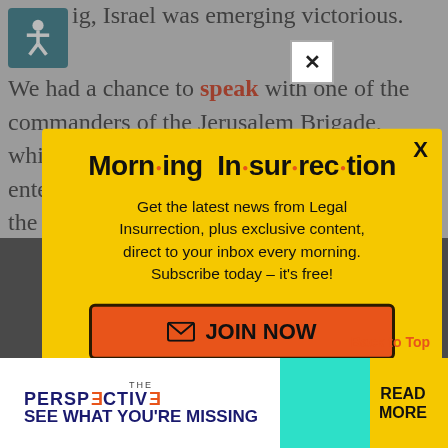ig, Israel was emerging victorious.
We had a chance to speak with one of the commanders of the Jerusalem Brigade, which entered the Old City this morning through the Dung Gate.
[Figure (screenshot): Morning Insurrection newsletter popup modal with yellow background. Title reads 'Morn·ing In·sur·rec·tion'. Body text: 'Get the latest news from Legal Insurrection, plus exclusive content, direct to your inbox every morning. Subscribe today – it's free!' with an orange JOIN NOW button.]
[Figure (screenshot): Bottom ad banner for 'The Perspective' publication with teal/yellow background. Text: 'SEE WHAT YOU'RE MISSING' with 'READ MORE' button on yellow background.]